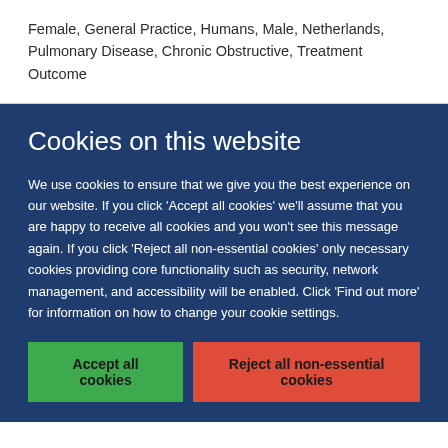Female, General Practice, Humans, Male, Netherlands, Pulmonary Disease, Chronic Obstructive, Treatment Outcome
Cookies on this website
We use cookies to ensure that we give you the best experience on our website. If you click 'Accept all cookies' we'll assume that you are happy to receive all cookies and you won't see this message again. If you click 'Reject all non-essential cookies' only necessary cookies providing core functionality such as security, network management, and accessibility will be enabled. Click 'Find out more' for information on how to change your cookie settings.
Accept all cookies
Reject all non-essential cookies